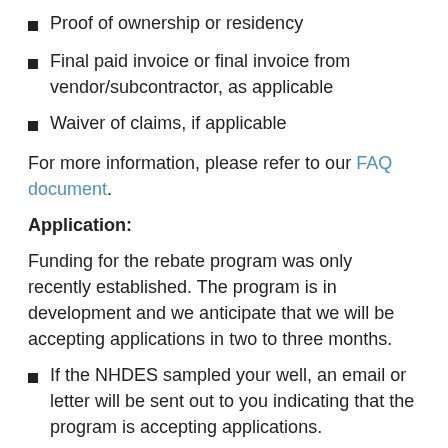Proof of ownership or residency
Final paid invoice or final invoice from vendor/subcontractor, as applicable
Waiver of claims, if applicable
For more information, please refer to our FAQ document.
Application:
Funding for the rebate program was only recently established. The program is in development and we anticipate that we will be accepting applications in two to three months.
If the NHDES sampled your well, an email or letter will be sent out to you indicating that the program is accepting applications.
If you sampled your well yourself or hired someone